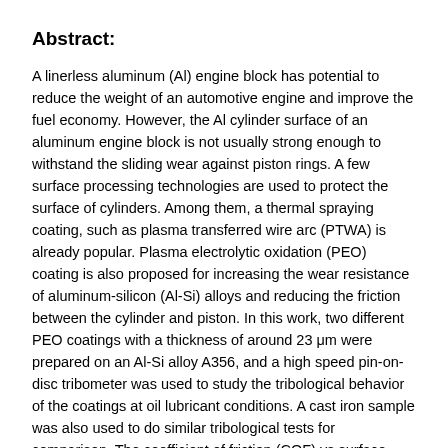Abstract:
A linerless aluminum (Al) engine block has potential to reduce the weight of an automotive engine and improve the fuel economy. However, the Al cylinder surface of an aluminum engine block is not usually strong enough to withstand the sliding wear against piston rings. A few surface processing technologies are used to protect the surface of cylinders. Among them, a thermal spraying coating, such as plasma transferred wire arc (PTWA) is already popular. Plasma electrolytic oxidation (PEO) coating is also proposed for increasing the wear resistance of aluminum-silicon (Al-Si) alloys and reducing the friction between the cylinder and piston. In this work, two different PEO coatings with a thickness of around 23 μm were prepared on an Al-Si alloy A356, and a high speed pin-on-disc tribometer was used to study the tribological behavior of the coatings at oil lubricant conditions. A cast iron sample was also used to do similar tribological tests for comparison. The coefficient of friction (COF) vs surface